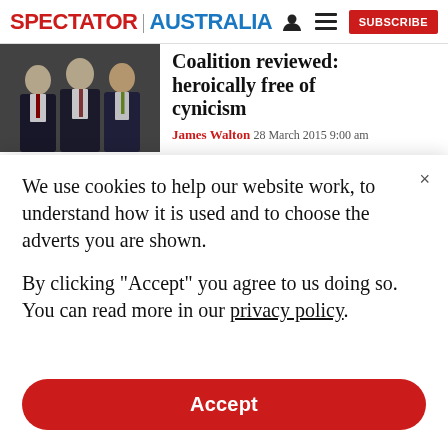SPECTATOR | AUSTRALIA
[Figure (photo): Three men in dark suits, appearing to be politicians or businessmen, photographed together.]
Coalition reviewed: heroically free of cynicism
James Walton 28 March 2015 9:00 am
We use cookies to help our website work, to understand how it is used and to choose the adverts you are shown.
By clicking "Accept" you agree to us doing so. You can read more in our privacy policy.
Accept